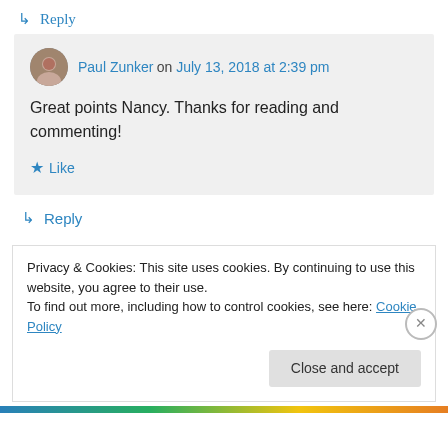↳ Reply
Paul Zunker on July 13, 2018 at 2:39 pm
Great points Nancy. Thanks for reading and commenting!
★ Like
↳ Reply
Privacy & Cookies: This site uses cookies. By continuing to use this website, you agree to their use. To find out more, including how to control cookies, see here: Cookie Policy
Close and accept